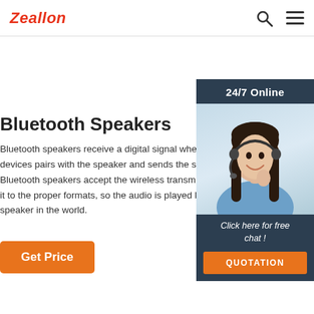Zeallon
Bluetooth Speakers
Bluetooth speakers receive a digital signal when a devices pairs with the speaker and sends the signal. Bluetooth speakers accept the wireless transmission it to the proper formats, so the audio is played like speaker in the world.
[Figure (photo): Customer service representative with headset, smiling. Dark background panel with '24/7 Online' label and 'Click here for free chat!' text with QUOTATION button.]
Get Price
QUOTATION